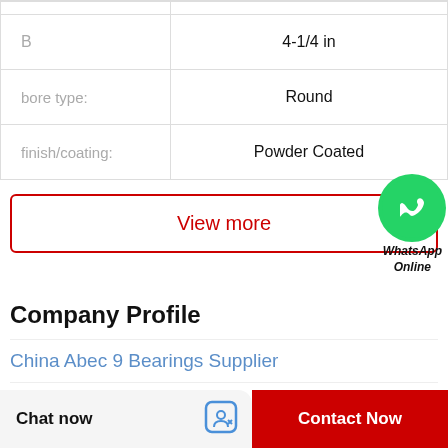| Property | Value |
| --- | --- |
|  |  |
| B | 4-1/4 in |
| bore type: | Round |
| finish/coating: | Powder Coated |
View more
[Figure (logo): WhatsApp green circle icon with phone handset]
WhatsApp Online
Company Profile
China Abec 9 Bearings Supplier
Phone   +1-294-148-7133
Chat now   Contact Now